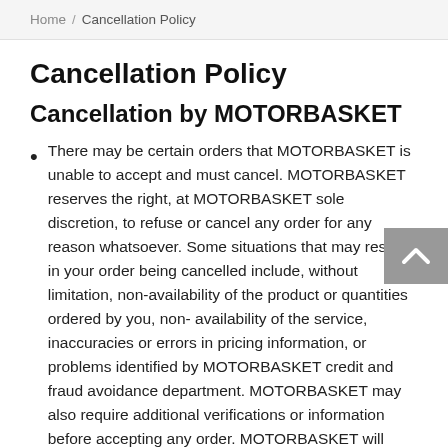Home / Cancellation Policy
Cancellation Policy
Cancellation by MOTORBASKET
There may be certain orders that MOTORBASKET is unable to accept and must cancel. MOTORBASKET reserves the right, at MOTORBASKET sole discretion, to refuse or cancel any order for any reason whatsoever. Some situations that may result in your order being cancelled include, without limitation, non-availability of the product or quantities ordered by you, non- availability of the service, inaccuracies or errors in pricing information, or problems identified by MOTORBASKET credit and fraud avoidance department. MOTORBASKET may also require additional verifications or information before accepting any order. MOTORBASKET will contact you if all or any portion of your order is cancelled or if additional information is required to accept your order. If